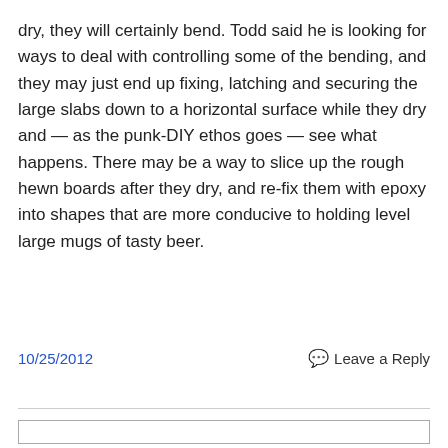dry, they will certainly bend. Todd said he is looking for ways to deal with controlling some of the bending, and they may just end up fixing, latching and securing the large slabs down to a horizontal surface while they dry and — as the punk-DIY ethos goes — see what happens. There may be a way to slice up the rough hewn boards after they dry, and re-fix them with epoxy into shapes that are more conducive to holding level large mugs of tasty beer.
10/25/2012   Leave a Reply